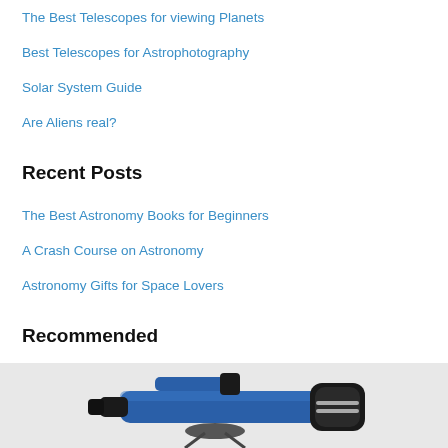The Best Telescopes for viewing Planets
Best Telescopes for Astrophotography
Solar System Guide
Are Aliens real?
Recent Posts
The Best Astronomy Books for Beginners
A Crash Course on Astronomy
Astronomy Gifts for Space Lovers
Recommended
[Figure (photo): A blue refractor telescope with black eyepiece and black objective lens cap, mounted on a tripod mount, viewed from an angle showing the tube and finder scope.]